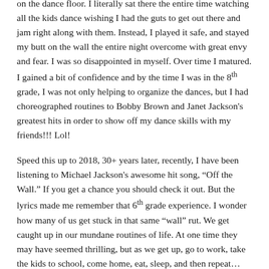on the dance floor. I literally sat there the entire time watching all the kids dance wishing I had the guts to get out there and jam right along with them. Instead, I played it safe, and stayed my butt on the wall the entire night overcome with great envy and fear. I was so disappointed in myself. Over time I matured. I gained a bit of confidence and by the time I was in the 8th grade, I was not only helping to organize the dances, but I had choreographed routines to Bobby Brown and Janet Jackson's greatest hits in order to show off my dance skills with my friends!!! Lol!
Speed this up to 2018, 30+ years later, recently, I have been listening to Michael Jackson's awesome hit song, “Off the Wall.” If you get a chance you should check it out. But the lyrics made me remember that 6th grade experience. I wonder how many of us get stuck in that same “wall” rut. We get caught up in our mundane routines of life. At one time they may have seemed thrilling, but as we get up, go to work, take the kids to school, come home, eat, sleep, and then repeat… we find ourselves slipping into a bit of boredom and even despair. We are frustrated with the monotony, but don’t really know any other way. The kids HAVE to go to practice. We HAVE to work, do laundry, cook, clean, etc… and it becomes too easy to lean up against that wall and watch everyone else enjoying